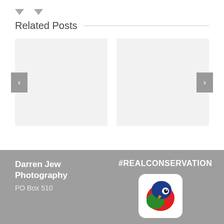Related Posts
[Figure (illustration): Two placeholder image cards with left and right navigation arrows, representing related blog post thumbnails]
Darren Jew Photography
PO Box 510
#REALCONSERVATION
[Figure (logo): Colorful parrot logo with red, green, and blue colors on a white rounded rectangle background]